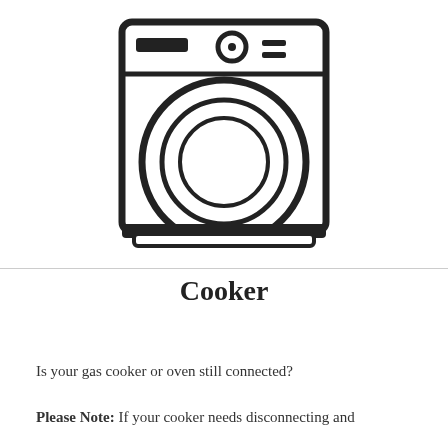[Figure (illustration): Line drawing icon of a washing machine / cooker appliance with control panel at top and circular door in the center]
Cooker
Is your gas cooker or oven still connected?
Please Note: If your cooker needs disconnecting and